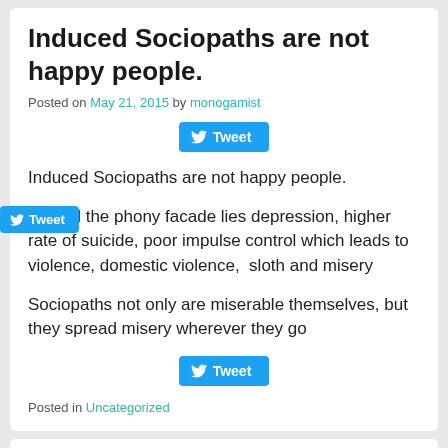Induced Sociopaths are not happy people.
Posted on May 21, 2015 by monogamist
[Figure (screenshot): Tweet button centered]
Induced Sociopaths are not happy people.
Behind the phony facade lies depression, higher rate of suicide, poor impulse control which leads to violence, domestic violence,  sloth and misery
Sociopaths not only are miserable themselves, but they spread misery wherever they go
[Figure (screenshot): Tweet button centered]
Posted in Uncategorized
Polygamous Nations Do Not Want